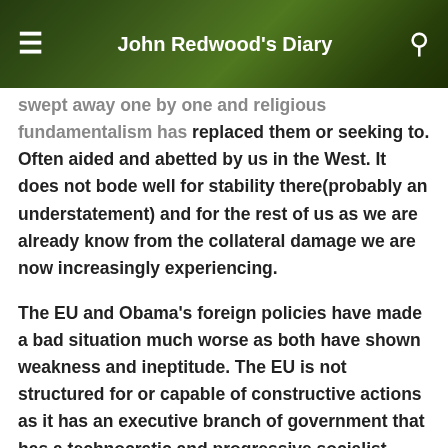John Redwood's Diary
swept away one by one and religious fundamentalism has replaced them or seeking to. Often aided and abetted by us in the West. It does not bode well for stability there(probably an understatement) and for the rest of us as we are already know from the collateral damage we are now increasingly experiencing.
The EU and Obama's foreign policies have made a bad situation much worse as both have shown weakness and ineptitude. The EU is not structured for or capable of constructive actions as it has an executive branch of government that has a technocratic and progressive socialist mind set that is a problem creator not solver. Trump to everyone's surprise has demonstrated some backbone maybe for the wrong reasons but now perhaps the US can start influencing the problem that are or we will start without least